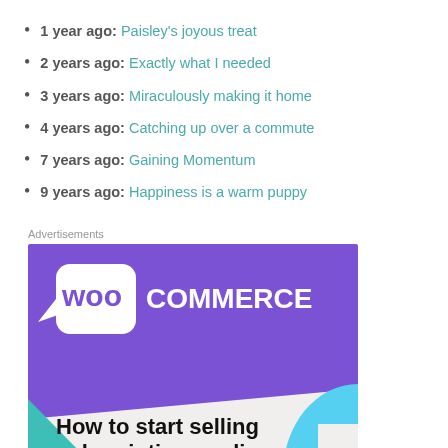1 year ago: Paisley's joyous treat
2 years ago: Exactly what I needed
3 years ago: Miraculously making it home
4 years ago: Catching up over a commute
7 years ago: Gaining Momentum
9 years ago: Happiness is a warm puppy
Advertisements
[Figure (screenshot): WooCommerce advertisement: 'How to start selling subscriptions online' with a 'Start a new store' button. Purple and teal branded banner with WooCommerce logo.]